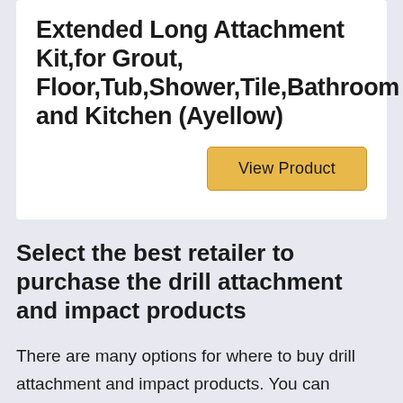Extended Long Attachment Kit,for Grout, Floor,Tub,Shower,Tile,Bathroom and Kitchen (Ayellow)
View Product
Select the best retailer to purchase the drill attachment and impact products
There are many options for where to buy drill attachment and impact products. You can choose among thousands of online stores but not all of them offer the same deals or quality in their